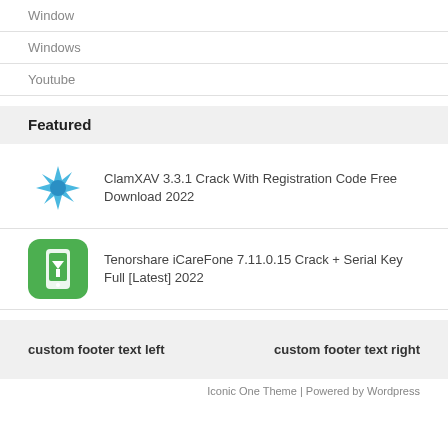Window
Windows
Youtube
Featured
ClamXAV 3.3.1 Crack With Registration Code Free Download 2022
Tenorshare iCareFone 7.11.0.15 Crack + Serial Key Full [Latest] 2022
custom footer text left   custom footer text right
Iconic One Theme | Powered by Wordpress